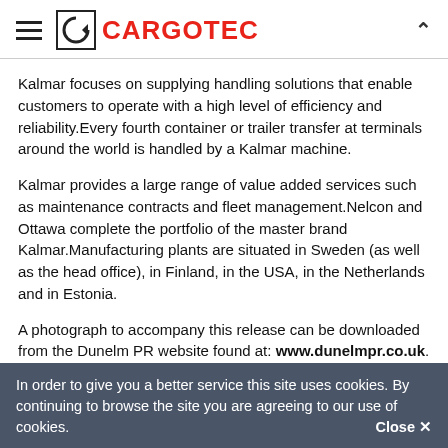CARGOTEC
Kalmar focuses on supplying handling solutions that enable customers to operate with a high level of efficiency and reliability.Every fourth container or trailer transfer at terminals around the world is handled by a Kalmar machine.
Kalmar provides a large range of value added services such as maintenance contracts and fleet management.Nelcon and Ottawa complete the portfolio of the master brand Kalmar.Manufacturing plants are situated in Sweden (as well as the head office), in Finland, in the USA, in the Netherlands and in Estonia.
A photograph to accompany this release can be downloaded from the Dunelm PR website found at: www.dunelmpr.co.uk.
By clicking on the photo gallery icon followed by the Kalmar logo you will be taken to a selection of thumbnail images.By selecting the thumbnail image you are interested in you will be taken to a
In order to give you a better service this site uses cookies. By continuing to browse the site you are agreeing to our use of cookies.